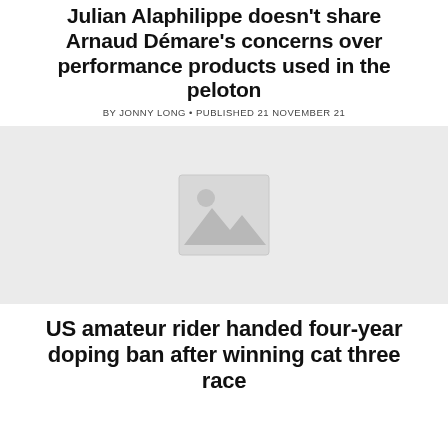Julian Alaphilippe doesn't share Arnaud Démare's concerns over performance products used in the peloton
BY JONNY LONG • PUBLISHED 21 NOVEMBER 21
[Figure (photo): Placeholder image with mountain/landscape icon on light grey background]
US amateur rider handed four-year doping ban after winning cat three race